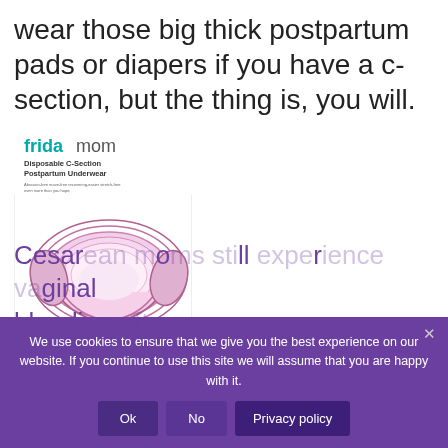wear those big thick postpartum pads or diapers if you have a c-section, but the thing is, you will.
[Figure (photo): Frida Mom Disposable C-Section Postpartum Underwear product box showing illustrated underwear in pink tones]
We use cookies to ensure that we give you the best experience on our website. If you continue to use this site we will assume that you are happy with it.
Cesarean moms still experience vaginal bleeding after...